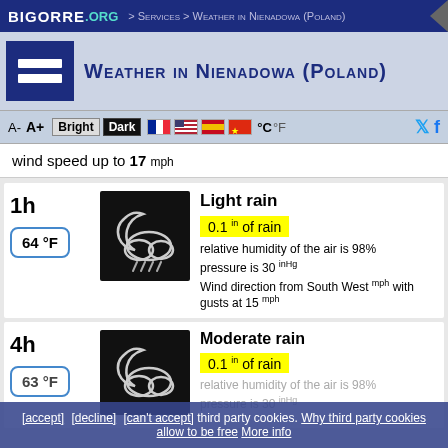BIGORRE.ORG > Services > Weather in Nienadowa (Poland)
Weather in Nienadowa (Poland)
A- A+ Bright Dark °C °F
wind speed up to 17 mph
1h
64 °F
Light rain
0.1 in of rain
relative humidity of the air is 98%
pressure is 30 inHg
Wind direction from South West mph with gusts at 15 mph
4h
63 °F
Moderate rain
0.1 in of rain
relative humidity of the air is 98%
pressure is 30 inHg
[accept] [decline] [can't accept] third party cookies. Why third party cookies allow to be free More info